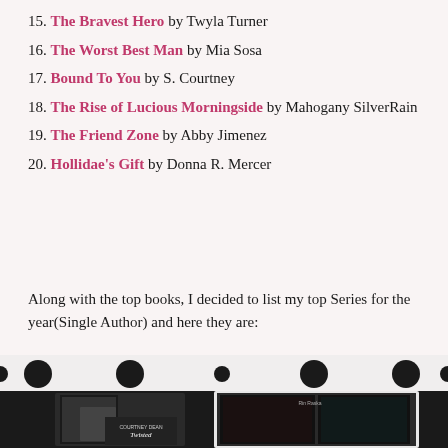15. The Bravest Hero by Twyla Turner
16. The Worst Best Man by Mia Sosa
17. Bound To You by S. Courtney
18. The Rise of Lucious Morningside by Mahogany SilverRain
19. The Friend Zone by Abby Jimenez
20. Hollidae's Gift by Donna R. Mercer
Along with the top books, I decided to list my top Series for the year(Single Author) and here they are:
[Figure (photo): Bottom decorative section with polka dot border and book cover images on a dark background, showing two book series collections including 'Twisted' and 'Courtney Dean' series covers.]